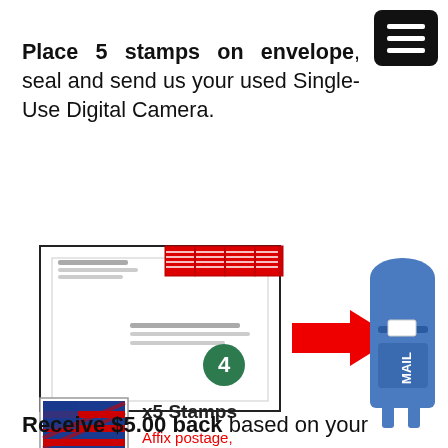Place 5 stamps on envelope, seal and send us your used Single-Use Digital Camera.
[Figure (illustration): Illustration of an envelope with 5 stamps in top-right corner and a red arrow pointing to a blue USPS mailbox. Below the envelope is a USA First Class stamp image with text 'x5 Stamps' and 'Affix postage, seal and mail' in red.]
4
Receive $5.00 back based on your